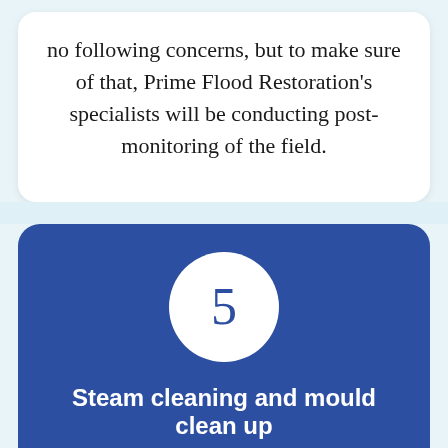no following concerns, but to make sure of that, Prime Flood Restoration's specialists will be conducting post-monitoring of the field.
5
Steam cleaning and mould clean up
We will not only repair your water problems. Our top priority is your well-being. Because of